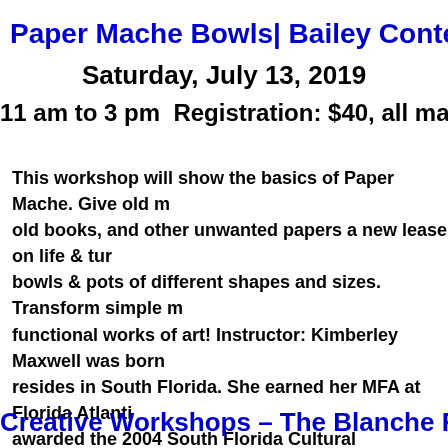Paper Mache Bowls| Bailey Contempo
Saturday, July 13, 2019
11 am to 3 pm  Registration: $40, all materials
This workshop will show the basics of Paper Mache. Give old m old books, and other unwanted papers a new lease on life & tur bowls & pots of different shapes and sizes. Transform simple m functional works of art! Instructor: Kimberley Maxwell was bor resides in South Florida. She earned her MFA at Florida Atlanti awarded the 2004 South Florida Cultural Consortium Visual an Fellowship.
Creative Workshops  –  The Blanche F